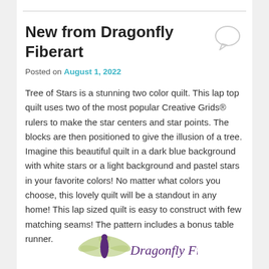New from Dragonfly Fiberart
Posted on August 1, 2022
Tree of Stars is a stunning two color quilt. This lap top quilt uses two of the most popular Creative Grids® rulers to make the star centers and star points. The blocks are then positioned to give the illusion of a tree. Imagine this beautiful quilt in a dark blue background with white stars or a light background and pastel stars in your favorite colors! No matter what colors you choose, this lovely quilt will be a standout in any home! This lap sized quilt is easy to construct with few matching seams! The pattern includes a bonus table runner.
[Figure (logo): Dragonfly Fiberart logo with dragonfly illustration and italic text]